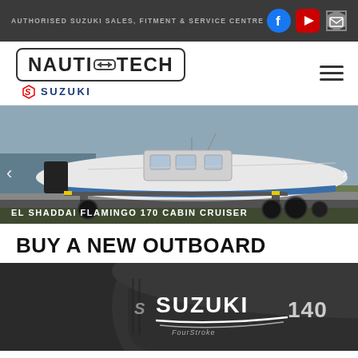AUTHORISED SUZUKI SALES, FITMENT & SERVICE CENTRE
[Figure (logo): Nauti-Tech logo with Suzuki branding]
[Figure (photo): El Shaddai Flamingo 170 Cabin Cruiser boat on trailer by water]
EL SHADDAI FLAMINGO 170 CABIN CRUISER
BUY A NEW OUTBOARD
[Figure (photo): Suzuki 140 FourStroke outboard motor engine cover, dark grey]